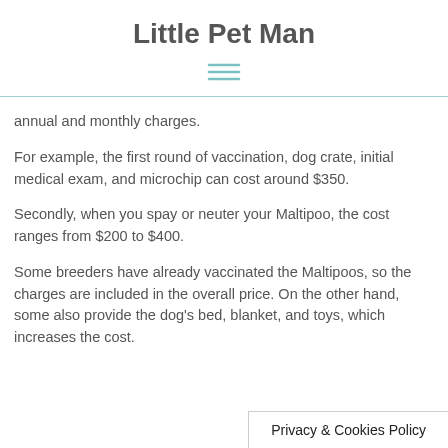Little Pet Man
annual and monthly charges.
For example, the first round of vaccination, dog crate, initial medical exam, and microchip can cost around $350.
Secondly, when you spay or neuter your Maltipoo, the cost ranges from $200 to $400.
Some breeders have already vaccinated the Maltipoos, so the charges are included in the overall price. On the other hand, some also provide the dog's bed, blanket, and toys, which increases the cost.
Privacy & Cookies Policy